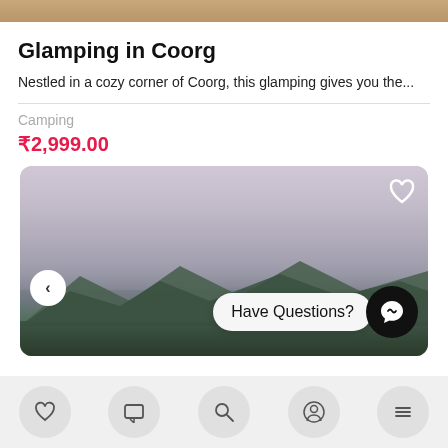[Figure (photo): Top strip showing a cropped photo of glamping/outdoor scene]
Glamping in Coorg
Nestled in a cozy corner of Coorg, this glamping gives you the...
Camping
₹2,999.00
[Figure (photo): Landscape photo of Coorg hills with cloudy sky, heart icon overlay, left navigation arrow, 'Have Questions?' chat bubble, and chat icon button]
[Figure (infographic): Bottom navigation bar with 5 icon buttons: heart, chat/message, search, person/profile, hamburger menu]